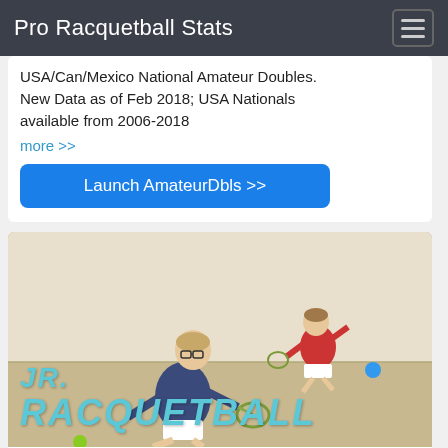Pro Racquetball Stats
USA/Can/Mexico National Amateur Doubles. New Data as of Feb 2018; USA Nationals available from 2006-2018
more >>
Launch AmateurDbls >>
[Figure (photo): Two boys playing junior racquetball on an indoor court, with 'JR. RACQUETBALL' text overlay in teal]
Doubles
Juniors